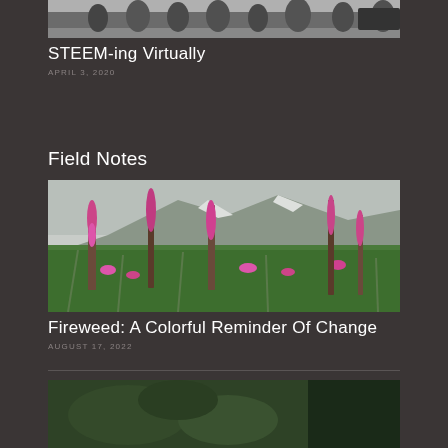[Figure (photo): Group of people standing outdoors, partially cropped at top]
STEEM-ing Virtually
APRIL 3, 2020
Field Notes
[Figure (photo): Pink fireweed flowers in foreground with green mountainside and snow-capped mountain in background]
Fireweed: A Colorful Reminder Of Change
AUGUST 17, 2022
[Figure (photo): Partially visible photo at bottom of page, dark green vegetation]